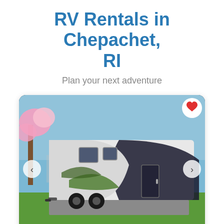RV Rentals in Chepachet, RI
Plan your next adventure
[Figure (photo): Photo of a 2017 Grand Design Imagine 2600RB travel trailer RV parked outdoors, with a cherry blossom tree visible in the background. The RV is white and black with green graphic accents. Left and right navigation arrows are visible on the photo. A heart/favorite button is in the top-right corner.]
Grand Design Imagine 2600RB
2017 / Travel Trailer